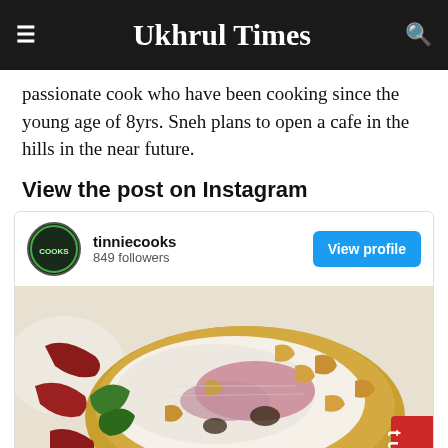Ukhrul Times
passionate cook who have been cooking since the young age of 8yrs. Sneh plans to open a cafe in the hills in the near future.
View the post on Instagram
[Figure (screenshot): Instagram embed showing tinniecooks profile with 849 followers, a View profile button, and a food photo of rice with cashews and caramelized onions in a golden bowl with dried red chilies and herbs]